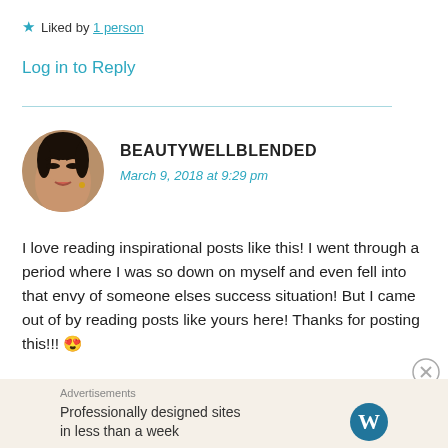★ Liked by 1 person
Log in to Reply
[Figure (photo): Circular avatar photo of commenter beautywellblended]
BEAUTYWELLBLENDED
March 9, 2018 at 9:29 pm
I love reading inspirational posts like this! I went through a period where I was so down on myself and even fell into that envy of someone elses success situation! But I came out of by reading posts like yours here! Thanks for posting this!!! 😍
Advertisements
Professionally designed sites in less than a week